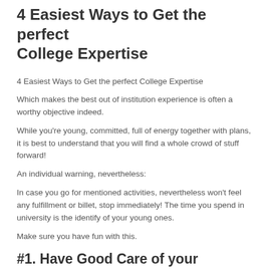4 Easiest Ways to Get the perfect College Expertise
4 Easiest Ways to Get the perfect College Expertise
Which makes the best out of institution experience is often a worthy objective indeed.
While you're young, committed, full of energy together with plans, it is best to understand that you will find a whole crowd of stuff forward!
An individual warning, nevertheless:
In case you go for mentioned activities, nevertheless won't feel any fulfillment or billet, stop immediately! The time you spend in university is the identify of your young ones.
Make sure you have fun with this.
#1. Have Good Care of your respective Health